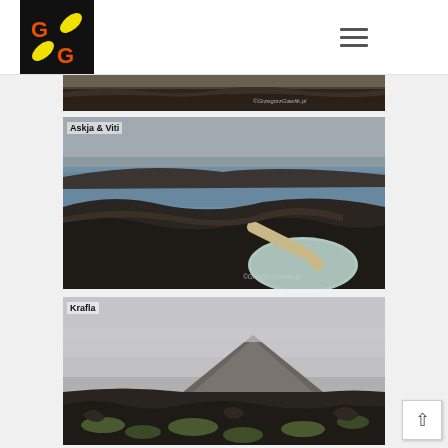[Figure (logo): GG logo with orange G and yellow leaf shapes on black background]
[Figure (photo): Aerial dark volcanic landscape with watermark ©GrzegorzGawlik.pl]
Askja & Viti
[Figure (photo): Askja & Viti volcanic crater with blue-green lake and dark volcanic slopes, watermark ©GrzegorzGawlik.pl]
Krafla
[Figure (photo): Krafla volcanic mountain peak in fog with dark lava rock and green moss in foreground]